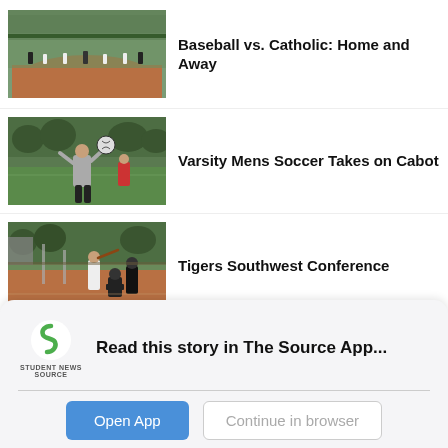[Figure (photo): Baseball game photo showing players on a dirt infield with green outfield and bleachers]
Baseball vs. Catholic: Home and Away
[Figure (photo): Soccer player in gray jersey reaching toward a ball in air on a green field with trees in background]
Varsity Mens Soccer Takes on Cabot
[Figure (photo): Baseball game with batter, catcher and umpire at home plate on a dirt infield]
Tigers Southwest Conference
Read this story in The Source App...
Open App
Continue in browser